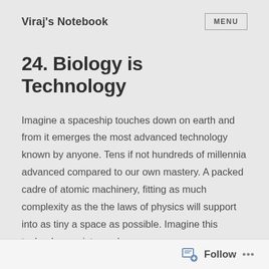Viraj's Notebook
24. Biology is Technology
Imagine a spaceship touches down on earth and from it emerges the most advanced technology known by anyone. Tens if not hundreds of millennia advanced compared to our own mastery. A packed cadre of atomic machinery, fitting as much complexity as the the laws of physics will support into as tiny a space as possible. Imagine this technology exists, and we can
Follow ...